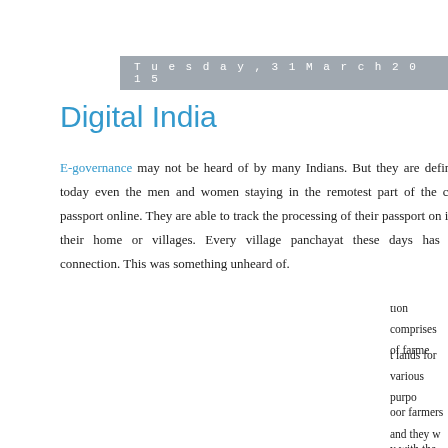Tuesday, 31 March 2015
Digital India
E-governance may not be heard of by many Indians. But they are defini... today even the men and women staying in the remotest part of the co... passport online. They are able to track the processing of their passport on ... in their home or villages. Every village panchayat these days has a ... connection. This was something unheard of.
[Figure (infographic): Social sharing button grid with Twitter (blue), Facebook (dark blue), Email (grey), WhatsApp (green), SMS (blue), and another green icon, each in a colored cell with white icon.]